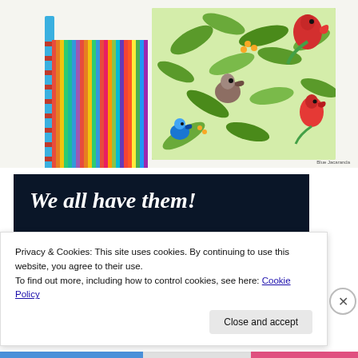[Figure (photo): Product photo showing a pencil case/roll with colorful rainbow stripes and a bird-print fabric featuring tropical birds and leaves. A blue dotted strap is visible on the left.]
Blue Jacaranda
[Figure (screenshot): Dark navy banner with white italic bold text reading 'We all have them!' with a pink button and white circle below on a dark background.]
Privacy & Cookies: This site uses cookies. By continuing to use this website, you agree to their use.
To find out more, including how to control cookies, see here: Cookie Policy
Close and accept